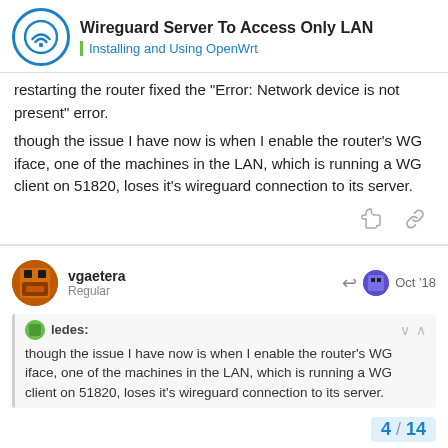Wireguard Server To Access Only LAN — Installing and Using OpenWrt
restarting the router fixed the "Error: Network device is not present" error.
though the issue I have now is when I enable the router's WG iface, one of the machines in the LAN, which is running a WG client on 51820, loses it's wireguard connection to its server.
vgaetera
Regular
Oct '18
ledes:
though the issue I have now is when I enable the router's WG iface, one of the machines in the LAN, which is running a WG client on 51820, loses it's wireguard connection to its server.
4 / 14